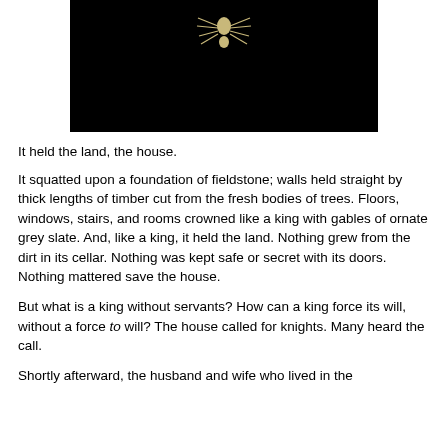[Figure (photo): A spider photographed against a black background, centered at the top of the page.]
It held the land, the house.
It squatted upon a foundation of fieldstone; walls held straight by thick lengths of timber cut from the fresh bodies of trees. Floors, windows, stairs, and rooms crowned like a king with gables of ornate grey slate. And, like a king, it held the land. Nothing grew from the dirt in its cellar. Nothing was kept safe or secret with its doors. Nothing mattered save the house.
But what is a king without servants? How can a king force its will, without a force to will? The house called for knights. Many heard the call.
Shortly afterward, the husband and wife who lived in the